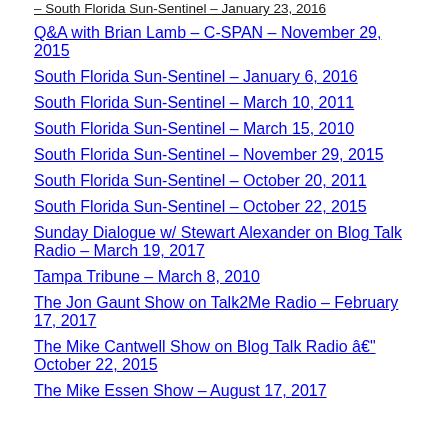– South Florida Sun-Sentinel – January 23, 2016
Q&A with Brian Lamb – C-SPAN – November 29, 2015
South Florida Sun-Sentinel – January 6, 2016
South Florida Sun-Sentinel – March 10, 2011
South Florida Sun-Sentinel – March 15, 2010
South Florida Sun-Sentinel – November 29, 2015
South Florida Sun-Sentinel – October 20, 2011
South Florida Sun-Sentinel – October 22, 2015
Sunday Dialogue w/ Stewart Alexander on Blog Talk Radio – March 19, 2017
Tampa Tribune – March 8, 2010
The Jon Gaunt Show on Talk2Me Radio – February 17, 2017
The Mike Cantwell Show on Blog Talk Radio â€" October 22, 2015
The Mike Essen Show – August 17, 2017